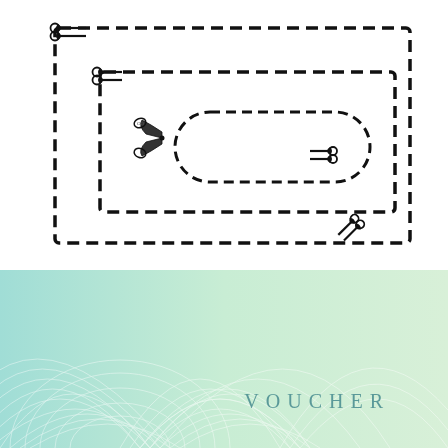[Figure (illustration): Coupon/voucher cut-out template with three nested dashed-border rectangles and scissors icons at corners and edges indicating cut lines. Outermost rectangle has scissors at top-left corner and bottom-right corner. Middle rectangle has scissors at top-left. Innermost shape is a rounded rectangle with scissors at left side. Additional scissors icon at right side midway.]
[Figure (illustration): Voucher card with teal-to-green gradient background featuring decorative guilloche wave pattern lines. The word VOUCHER is printed in spaced teal letters at the right side.]